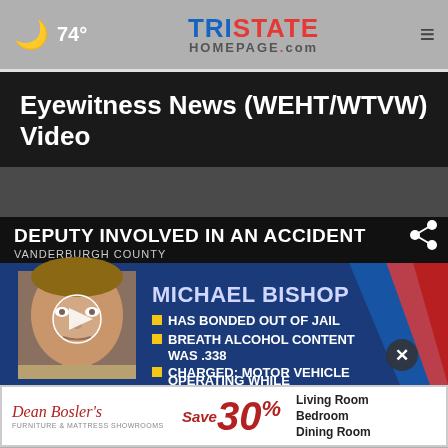🌙 74° TRISTATE HOMEPAGE.com ≡
Eyewitness News (WEHT/WTVW) Video
[Figure (screenshot): News broadcast screenshot: 'DEPUTY INVOLVED IN AN ACCIDENT' chyron with 'VANDERBURGH COUNTY' lower third. Shows mugshot of Michael Bishop. Text bullets: HAS BONDED OUT OF JAIL, BREATH ALCOHOL CONTENT WAS .338, CHARGED: MOTOR VEHICLE OPERATING WHILE INTOXICATED. Share icon top right, X close button bottom right.]
[Figure (other): Advertisement: Dean Bosler's furniture and mattress showrooms. Save 30% on Living Room, Bedroom, Dining Room.]